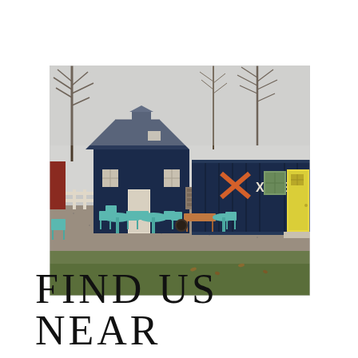[Figure (photo): Exterior photo of Xines winery/bar. Shows a dark navy blue barn building on the left and a navy blue shipping container on the right with an orange X and 'XINES' logo painted on it and a yellow door. Teal/turquoise metal chairs and tables are scattered on a gravel patio area. Bare trees visible in the background against an overcast sky. Green grass patch in the foreground with fallen leaves.]
FIND US NEAR